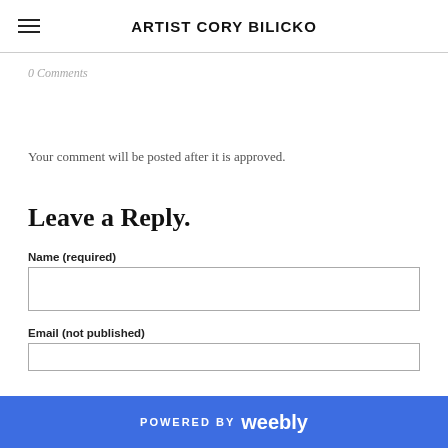ARTIST CORY BILICKO
0 Comments
Your comment will be posted after it is approved.
Leave a Reply.
Name (required)
Email (not published)
POWERED BY weebly